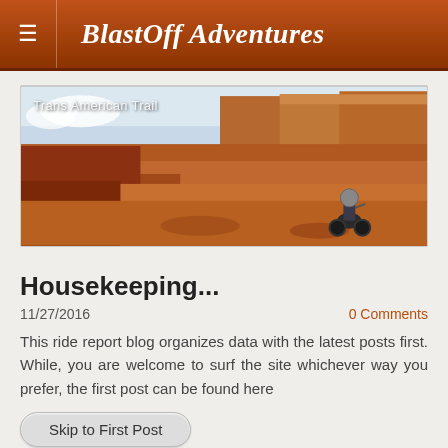BlastOff Adventures
[Figure (photo): Panoramic photo of a motorcyclist on a red rock canyon landscape, labeled 'Trans American Trail']
Housekeeping...
11/27/2016
0 Comments
This ride report blog organizes data with the latest posts first.  While, you are welcome to surf the site whichever way you prefer, the first post can be found here
Skip to First Post
0 Comments